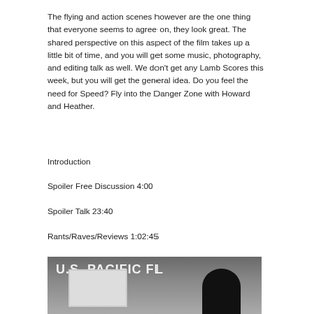The flying and action scenes however are the one thing that everyone seems to agree on, they look great. The shared perspective on this aspect of the film takes up a little bit of time, and you will get some music, photography, and editing talk as well. We don't get any Lamb Scores this week, but you will get the general idea. Do you feel the need for Speed? Fly into the Danger Zone with Howard and Heather.
Introduction
Spoiler Free Discussion 4:00
Spoiler Talk 23:40
Rants/Raves/Reviews 1:02:45
[Figure (photo): Screenshot showing text 'U.S. PACIFIC FL' with a person silhouette in front of a display/screen]